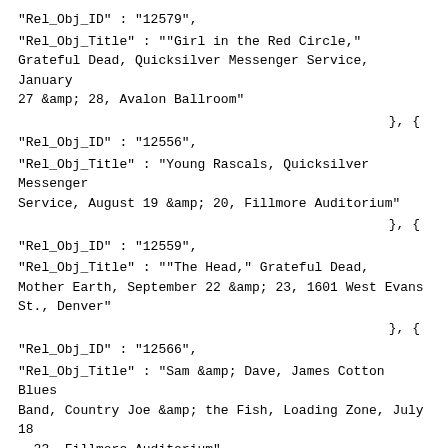"Rel_Obj_ID" : "12579",
"Rel_Obj_Title" : "&quot;Girl in the Red Circle,&quot; Grateful Dead, Quicksilver Messenger Service, January 27 &amp; 28, Avalon Ballroom"
},  {
"Rel_Obj_ID" : "12556",
"Rel_Obj_Title" : "Young Rascals, Quicksilver Messenger Service, August 19 &amp; 20, Fillmore Auditorium"
},  {
"Rel_Obj_ID" : "12559",
"Rel_Obj_Title" : "&quot;The Head,&quot; Grateful Dead, Mother Earth, September 22 &amp; 23, 1601 West Evans St., Denver"
},  {
"Rel_Obj_ID" : "12566",
"Rel_Obj_Title" : "Sam &amp; Dave, James Cotton Blues Band, Country Joe &amp; the Fish, Loading Zone, July 18 - 23, Fillmore Auditorium"
},  {
"Rel_Obj_ID" : "12458",
"Rel_Obj_Title" : "The Mothers, Oxford Circle,